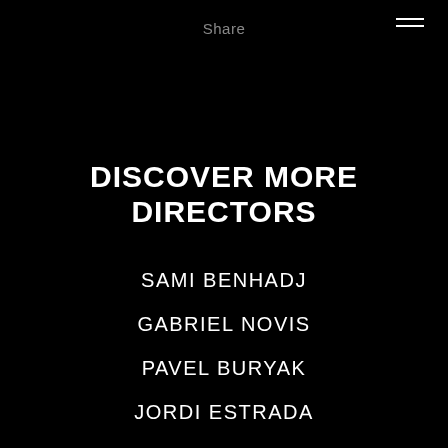Share
DISCOVER MORE DIRECTORS
SAMI BENHADJ
GABRIEL NOVIS
PAVEL BURYAK
JORDI ESTRADA
GREG BRAY
IVAN DIXON & SEAN ZWAN